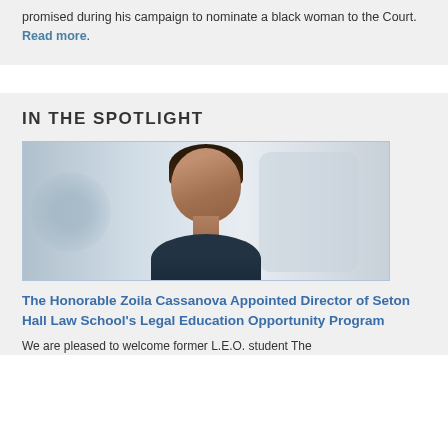promised during his campaign to nominate a black woman to the Court. Read more.
IN THE SPOTLIGHT
[Figure (photo): Professional headshot of a woman with dark hair against a blurred indoor background]
The Honorable Zoila Cassanova Appointed Director of Seton Hall Law School's Legal Education Opportunity Program
We are pleased to welcome former L.E.O. student The